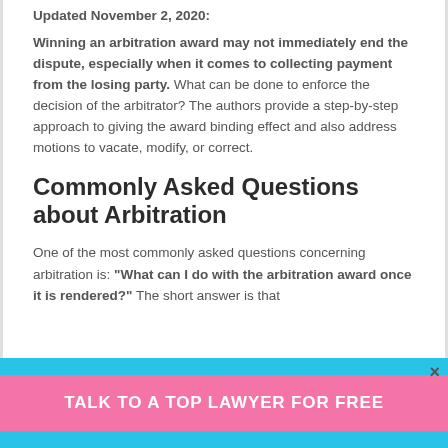Updated November 2, 2020:
Winning an arbitration award may not immediately end the dispute, especially when it comes to collecting payment from the losing party. What can be done to enforce the decision of the arbitrator? The authors provide a step-by-step approach to giving the award binding effect and also address motions to vacate, modify, or correct.
Commonly Asked Questions about Arbitration
One of the most commonly asked questions concerning arbitration is: "What can I do with the arbitration award once it is rendered?" The short answer is that
TALK TO A TOP LAWYER FOR FREE